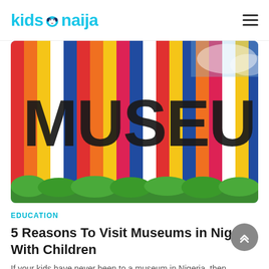kids naija
[Figure (photo): Colorful striped museum building wall with large bold letters spelling MUSEUM on the facade, blue sky in background, green bushes at bottom]
EDUCATION
5 Reasons To Visit Museums in Nigeria With Children
If your kids have never been to a museum in Nigeria, then